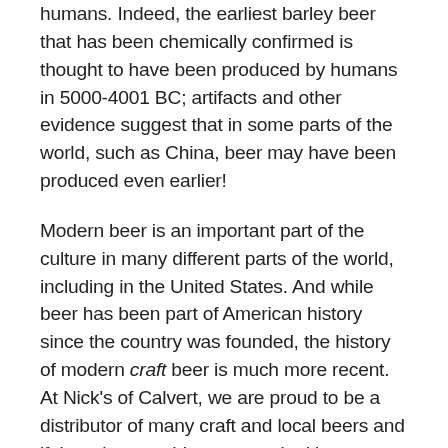humans. Indeed, the earliest barley beer that has been chemically confirmed is thought to have been produced by humans in 5000-4001 BC; artifacts and other evidence suggest that in some parts of the world, such as China, beer may have been produced even earlier!
Modern beer is an important part of the culture in many different parts of the world, including in the United States. And while beer has been part of American history since the country was founded, the history of modern craft beer is much more recent. At Nick's of Calvert, we are proud to be a distributor of many craft and local beers and if there is something you are looking to try, we can help you find it. And if you have already found a great craft beer at our store,